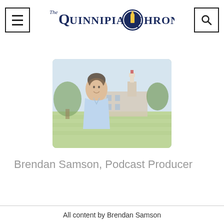The Quinnipiac Chronicle
[Figure (photo): Young man smiling, standing outdoors on a green lawn with a campus building and clock tower in the background. The photo has a light, slightly faded quality.]
Brendan Samson, Podcast Producer
All content by Brendan Samson